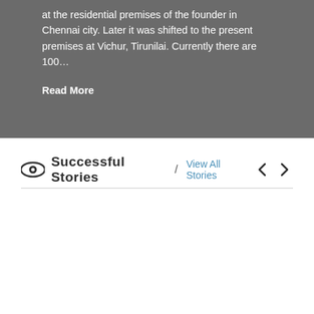at the residential premises of the founder in Chennai city. Later it was shifted to the present premises at Vichur, Tirunilai. Currently there are 100…
Read More
Successful Stories / View All Stories